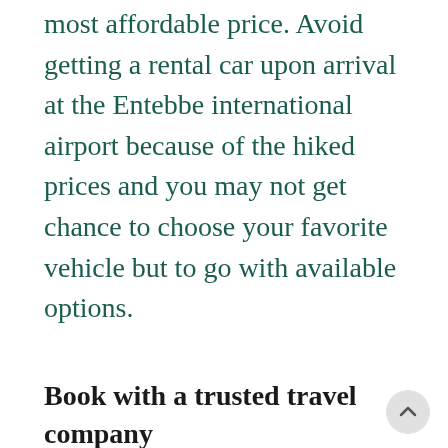most affordable price. Avoid getting a rental car upon arrival at the Entebbe international airport because of the hiked prices and you may not get chance to choose your favorite vehicle but to go with available options.
Book with a trusted travel company
We advise travelers to consider getting a private car for all your transport needs from a licensed travel agent and with them you wont regret every dollar spent on your road trip. It is important to note